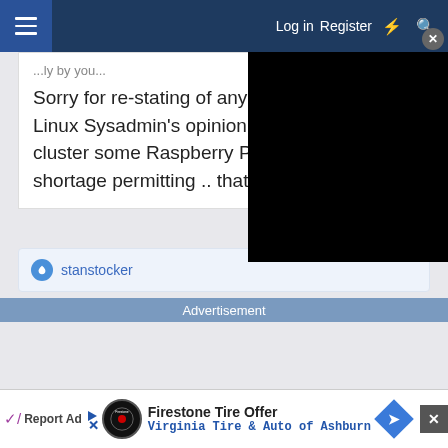Log in  Register
Sorry for re-stating of any obv... Linux Sysadmin's opinion to a... cluster some Raspberry Pi's ... shortage permitting .. that is)
stanstocker
Advertisement
[Figure (screenshot): Bottom advertisement banner: Firestone Tire Offer - Virginia Tire & Auto of Ashburn]
Report Ad
Firestone Tire Offer  Virginia Tire & Auto of Ashburn